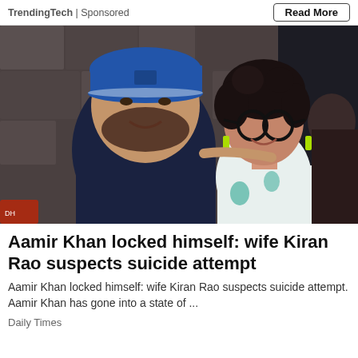TrendingTech | Sponsored   Read More
[Figure (photo): A man wearing a blue cap and dark navy t-shirt standing next to a woman with curly dark hair, glasses, and green earrings wearing a white tie-dye top. Stone wall background.]
Aamir Khan locked himself: wife Kiran Rao suspects suicide attempt
Aamir Khan locked himself: wife Kiran Rao suspects suicide attempt. Aamir Khan has gone into a state of ...
Daily Times